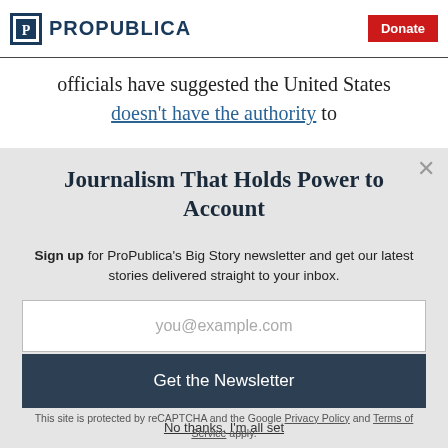ProPublica | Donate
officials have suggested the United States doesn't have the authority to
Journalism That Holds Power to Account
Sign up for ProPublica's Big Story newsletter and get our latest stories delivered straight to your inbox.
you@example.com
Get the Newsletter
No thanks, I'm all set
This site is protected by reCAPTCHA and the Google Privacy Policy and Terms of Service apply.